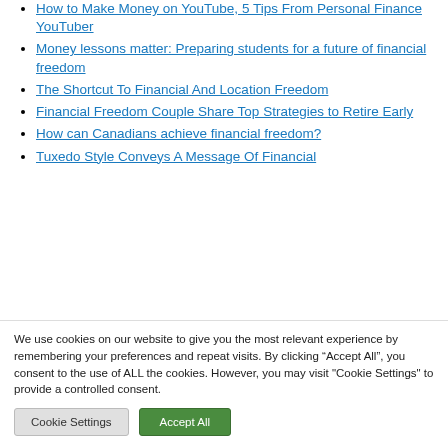How to Make Money on YouTube, 5 Tips From Personal Finance YouTuber
Money lessons matter: Preparing students for a future of financial freedom
The Shortcut To Financial And Location Freedom
Financial Freedom Couple Share Top Strategies to Retire Early
How can Canadians achieve financial freedom?
Tuxedo Style Conveys A Message Of Financial
We use cookies on our website to give you the most relevant experience by remembering your preferences and repeat visits. By clicking “Accept All”, you consent to the use of ALL the cookies. However, you may visit "Cookie Settings" to provide a controlled consent.